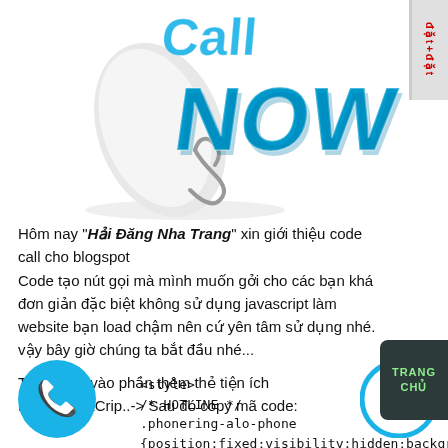[Figure (illustration): 3D blue Call NOW text with telephone handset illustration and a small red/gray badge on the top right corner]
Hôm nay "Hải Đăng Nha Trang" xin giới thiệu code call cho blogspot
Code tạo nút gọi mà mình muốn gởi cho các bạn khá đơn giản đặc biệt không sử dụng javascript làm website bạn load chậm nên cứ yên tâm sử dụng nhé. vậy bây giờ chúng ta bắt đầu nhé...
Thực hiện vào phần thêm thẻ tiện ích HTML/JavaCrip..-> Sau đó copy mã code:
[Figure (illustration): Blue circle phone icon (call button) on the left]
<style>
/* HOTLINE */
.phonering-alo-phone
{position:fixed;visibility:hidden;background-color:transparent;width:300px;height:300px;
[Figure (illustration): Zalo blue circle icon on the right]
[Figure (illustration): Dark speech bubble with TRANG CHỦ text on the right side]